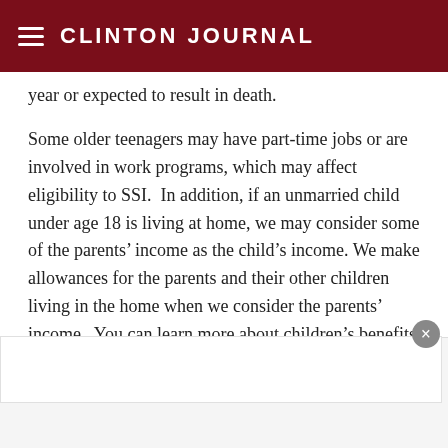CLINTON JOURNAL
year or expected to result in death.
Some older teenagers may have part-time jobs or are involved in work programs, which may affect eligibility to SSI.  In addition, if an unmarried child under age 18 is living at home, we may consider some of the parents' income as the child's income.  We make allowances for the parents and their other children living in the home when we consider the parents' income.  You can learn more about children's benefits in our publication, Benefits for Children with Disabilities at